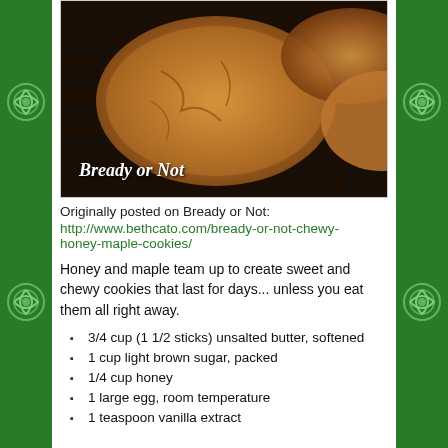[Figure (photo): Close-up photo of golden-brown chewy cookies on a wire cooling rack, with 'Bready or Not' text overlay in white italic font at the bottom left]
Originally posted on Bready or Not:
http://www.bethcato.com/bready-or-not-chewy-honey-maple-cookies/
Honey and maple team up to create sweet and chewy cookies that last for days... unless you eat them all right away.
3/4 cup (1 1/2 sticks) unsalted butter, softened
1 cup light brown sugar, packed
1/4 cup honey
1 large egg, room temperature
1 teaspoon vanilla extract